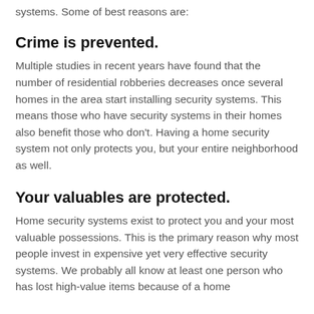systems. Some of best reasons are:
Crime is prevented.
Multiple studies in recent years have found that the number of residential robberies decreases once several homes in the area start installing security systems. This means those who have security systems in their homes also benefit those who don't. Having a home security system not only protects you, but your entire neighborhood as well.
Your valuables are protected.
Home security systems exist to protect you and your most valuable possessions. This is the primary reason why most people invest in expensive yet very effective security systems. We probably all know at least one person who has lost high-value items because of a home